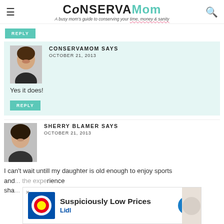ConservaMom — A busy mom's guide to conserving your time, money & sanity
REPLY
[Figure (photo): Avatar photo of ConservaMom blogger, woman smiling]
CONSERVAMOM SAYS
OCTOBER 21, 2013
Yes it does!
REPLY
[Figure (photo): Avatar photo of Sherry Blamer, woman with dark hair]
SHERRY BLAMER SAYS
OCTOBER 21, 2013
I can't wait untill my daughter is old enough to enjoy sports and share the experience sha
[Figure (screenshot): Lidl advertisement banner: Suspiciously Low Prices]